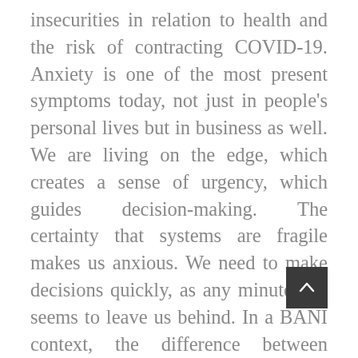insecurities in relation to health and the risk of contracting COVID-19. Anxiety is one of the most present symptoms today, not just in people's personal lives but in business as well. We are living on the edge, which creates a sense of urgency, which guides decision-making. The certainty that systems are fragile makes us anxious. We need to make decisions quickly, as any minute lost seems to leave us behind. In a BANI context, the difference between success and failure may lie in the response time to the weaknesses we face. When we are anxious, any choice can be potentially